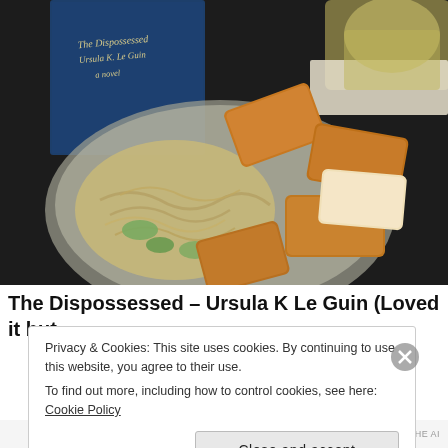[Figure (photo): A bowl of noodles with fried tofu pieces on a dark table surface, alongside a navy blue book titled 'The Dispossessed' by Ursula K. Le Guin and a glass of white wine on a coaster.]
The Dispossessed – Ursula K Le Guin (Loved it but
Privacy & Cookies: This site uses cookies. By continuing to use this website, you agree to their use.
To find out more, including how to control cookies, see here: Cookie Policy